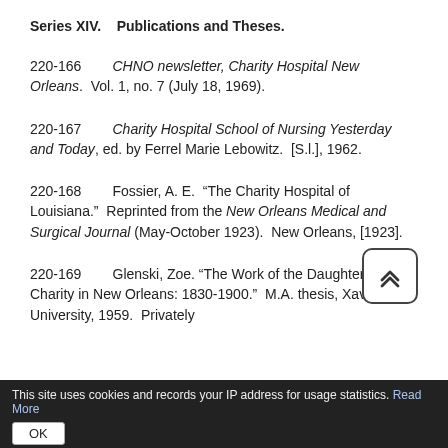Series XIV.    Publications and Theses.
220-166        CHNO newsletter, Charity Hospital New Orleans.  Vol. 1, no. 7 (July 18, 1969).
220-167        Charity Hospital School of Nursing Yesterday and Today, ed. by Ferrel Marie Lebowitz.  [S.l.], 1962.
220-168        Fossier, A. E.  "The Charity Hospital of Louisiana."  Reprinted from the New Orleans Medical and Surgical Journal (May-October 1923).  New Orleans, [1923].
220-169        Glenski, Zoe. "The Work of the Daughters of Charity in New Orleans: 1830-1900."  M.A. thesis, Xavier University, 1959.  Privately
This site uses cookies and records your IP address for usage statistics. Read More
OK